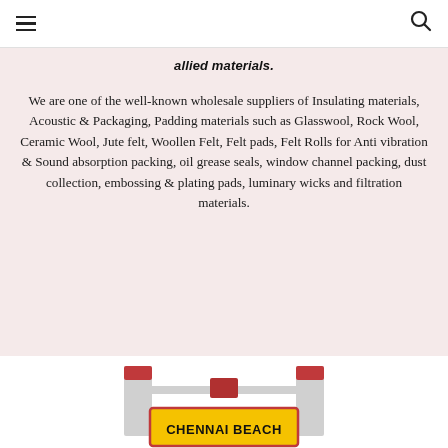allied materials.
We are one of the well-known wholesale suppliers of Insulating materials, Acoustic & Packaging, Padding materials such as Glasswool, Rock Wool, Ceramic Wool, Jute felt, Woollen Felt, Felt pads, Felt Rolls for Anti vibration & Sound absorption packing, oil grease seals, window channel packing, dust collection, embossing & plating pads, luminary wicks and filtration materials.
[Figure (illustration): Partial view of a Chennai Beach sign/gate illustration with red-topped pillars and a yellow sign board showing 'CHENNAI BEACH' text]